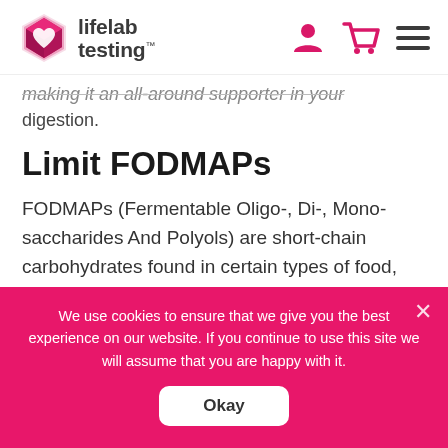[Figure (logo): Lifelab Testing logo with heart icon and brand name]
making it an all-around supporter in your digestion.
Limit FODMAPs
FODMAPs (Fermentable Oligo-, Di-, Monosaccharides And Polyols) are short-chain carbohydrates found in certain types of food, such as wheat and beans. Studies show a strong link between FODMAPs and digestive symptoms
We use cookies to ensure that we give you the best experience on our website. If you continue to use this site we will assume that you are happy with it.
Okay